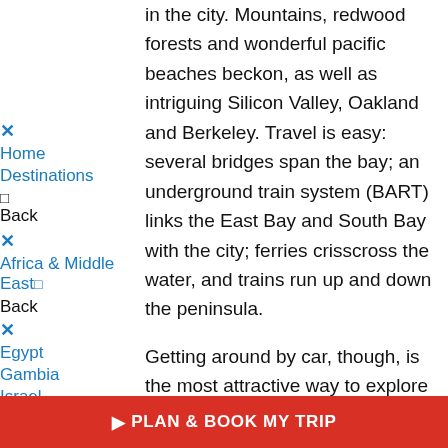in the city. Mountains, redwood forests and wonderful pacific beaches beckon, as well as intriguing Silicon Valley, Oakland and Berkeley. Travel is easy: several bridges span the bay; an underground train system (BART) links the East Bay and South Bay with the city; ferries crisscross the water, and trains run up and down the peninsula.

Getting around by car, though, is the most attractive way to explore the coasts, hills and valleys.

When it comes to vibrant American cities, San Francisco is certainly at the top of the
× Home
Destinations
◻ Back
× Africa & Middle East ◻
Back
× Egypt
Gambia
Israel
Jordan
PLAN & BOOK MY TRIP